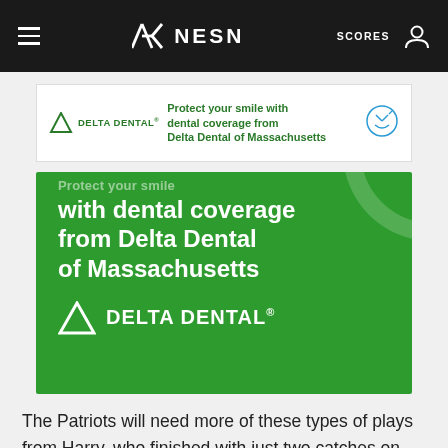NESN | SCORES
[Figure (advertisement): Delta Dental small banner ad: 'Protect your smile with dental coverage from Delta Dental of Massachusetts']
[Figure (advertisement): Delta Dental large green advertisement: 'with dental coverage from Delta Dental of Massachusetts' with Delta Dental logo in white on green background]
The Patriots will need more of these types of plays from Harry, who finished with just two catches on four targets for 34 yards Sunday.